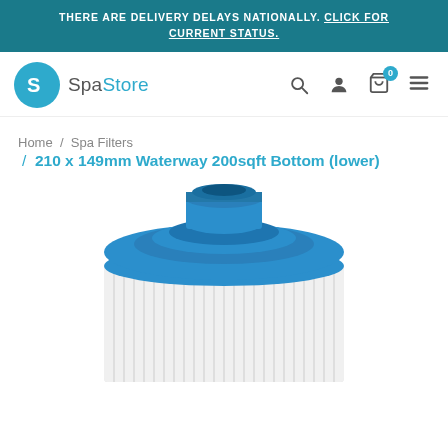THERE ARE DELIVERY DELAYS NATIONALLY. CLICK FOR CURRENT STATUS.
[Figure (logo): Spa Store logo with teal circular S icon and SpaStore text]
Home / Spa Filters / 210 x 149mm Waterway 200sqft Bottom (lower)
[Figure (photo): Cylindrical spa filter cartridge with blue top cap showing threaded inlet, white pleated filter media body, viewed from top-front angle]